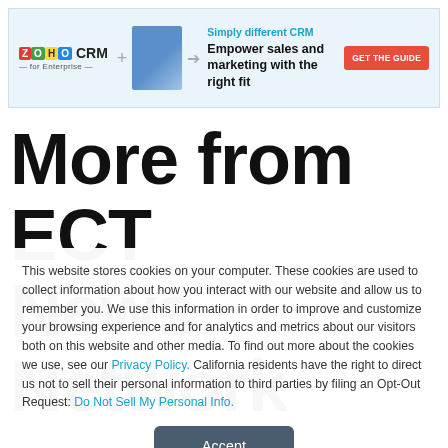[Figure (infographic): Zoho CRM for Enterprise advertisement banner with logo, book image, tagline 'Simply different CRM', text 'Empower sales and marketing with the right fit', and a red 'GET THE GUIDE' button]
More from ECT News Network
This website stores cookies on your computer. These cookies are used to collect information about how you interact with our website and allow us to remember you. We use this information in order to improve and customize your browsing experience and for analytics and metrics about our visitors both on this website and other media. To find out more about the cookies we use, see our Privacy Policy. California residents have the right to direct us not to sell their personal information to third parties by filing an Opt-Out Request: Do Not Sell My Personal Info.
Accept